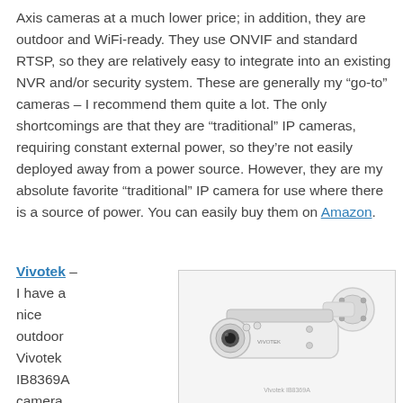Axis cameras at a much lower price; in addition, they are outdoor and WiFi-ready. They use ONVIF and standard RTSP, so they are relatively easy to integrate into an existing NVR and/or security system. These are generally my “go-to” cameras – I recommend them quite a lot. The only shortcomings are that they are “traditional” IP cameras, requiring constant external power, so they’re not easily deployed away from a power source. However, they are my absolute favorite “traditional” IP camera for use where there is a source of power. You can easily buy them on Amazon.
Vivotek – I have a nice outdoor Vivotek IB8369A camera. It’s a very
[Figure (photo): Photo of a Vivotek IB8369A outdoor bullet IP camera, white colored, mounted on a wall bracket, shown against a white background.]